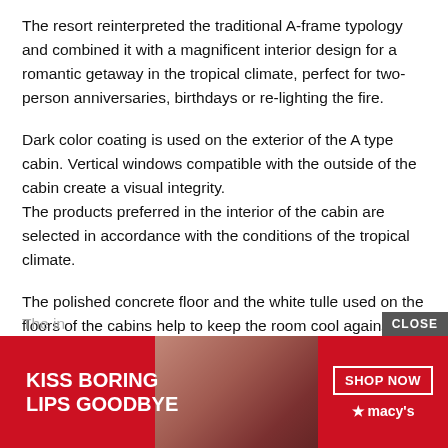The resort reinterpreted the traditional A-frame typology and combined it with a magnificent interior design for a romantic getaway in the tropical climate, perfect for two-person anniversaries, birthdays or re-lighting the fire.
Dark color coating is used on the exterior of the A type cabin. Vertical windows compatible with the outside of the cabin create a visual integrity. The products preferred in the interior of the cabin are selected in accordance with the conditions of the tropical climate.
The polished concrete floor and the white tulle used on the floors of the cabins help to keep the room cool against the effects of the sun.
The in
[Figure (illustration): Advertisement banner: dark red/crimson background with a model's face showing red lips. Text reads 'KISS BORING LIPS GOODBYE' on the left in white bold text. Right side has a 'SHOP NOW' button with white border and Macy's star logo.]